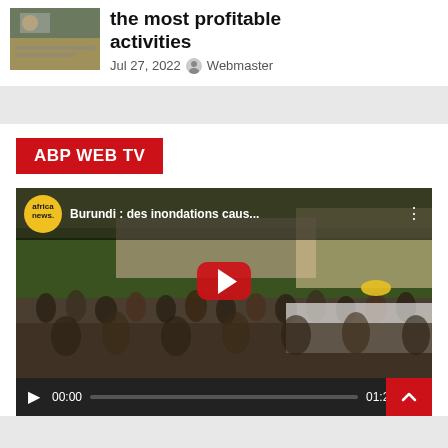[Figure (photo): Thumbnail image of people working/writing at a desk, partially visible at top left]
the most profitable activities
Jul 27, 2022  Webmaster
ABP WEB TV
[Figure (screenshot): Embedded YouTube video player showing Africa News video titled 'Burundi : des inondations caus...' with a crowd scene outdoors, video duration 01:22, paused at 00:00 with play button visible]